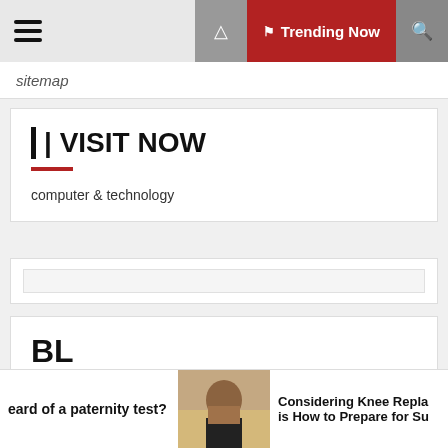Trending Now
sitemap
| VISIT NOW
computer & technology
BL
eard of a paternity test?
Considering Knee Repla is How to Prepare for Su